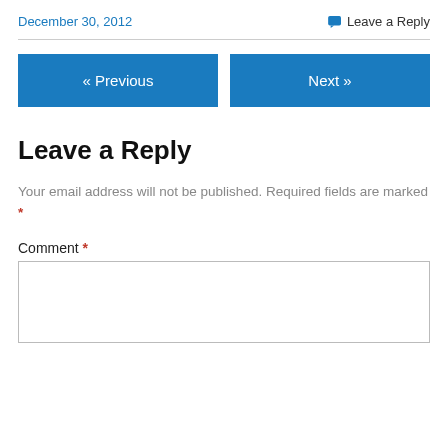December 30, 2012   Leave a Reply
[Figure (other): Navigation buttons: « Previous and Next »]
Leave a Reply
Your email address will not be published. Required fields are marked *
Comment *